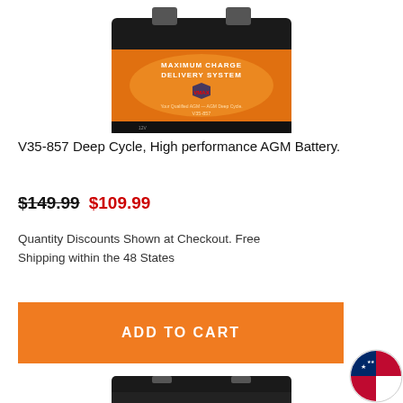[Figure (photo): Product photo of V35-857 Deep Cycle AGM Battery by VMAX with orange label reading MAXIMUM CHARGE DELIVERY SYSTEM]
V35-857 Deep Cycle, High performance AGM Battery.
$149.99 $109.99
Quantity Discounts Shown at Checkout. Free Shipping within the 48 States
ADD TO CART
[Figure (photo): Partial product photo of a second battery at the bottom of the page]
[Figure (illustration): US flag circular badge in bottom right corner]